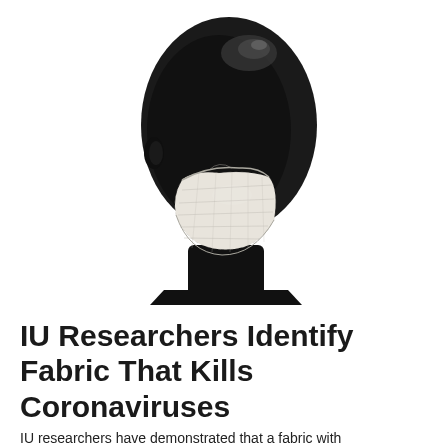[Figure (photo): A shiny black mannequin head wearing a white fabric face mask, viewed from a three-quarter angle against a white background.]
IU Researchers Identify Fabric That Kills Coronaviruses
IU researchers have demonstrated that a fabric with